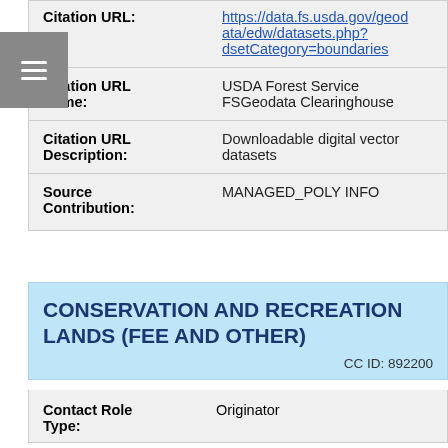| Citation URL: | https://data.fs.usda.gov/geodata/edw/datasets.php?dsetCategory=boundaries |
| Citation URL Name: | USDA Forest Service FSGeodata Clearinghouse |
| Citation URL Description: | Downloadable digital vector datasets |
| Source Contribution: | MANAGED_POLY INFO |
CONSERVATION AND RECREATION LANDS (FEE AND OTHER)
CC ID: 892200
| Contact Role Type: | Originator |